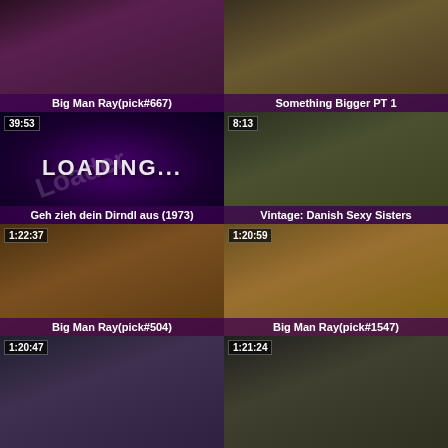[Figure (screenshot): Video thumbnail grid showing adult video content with titles and durations]
Big Man Ray(pick#667)
Something Bigger PT 1
Geh zieh dein Dirndl aus (1973)
Vintage: Danish Sexy Sisters
Big Man Ray(pick#504)
Big Man Ray(pick#1547)
(partial thumbnail)
(partial thumbnail)